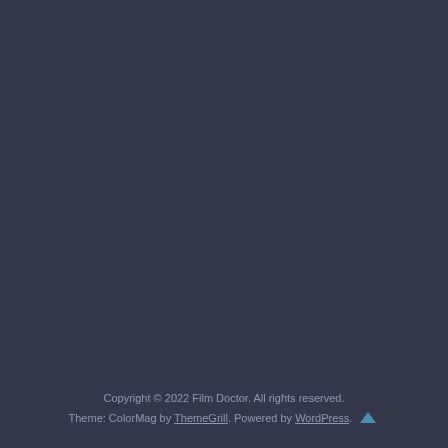Copyright © 2022 Film Doctor. All rights reserved. Theme: ColorMag by ThemeGrill. Powered by WordPress.